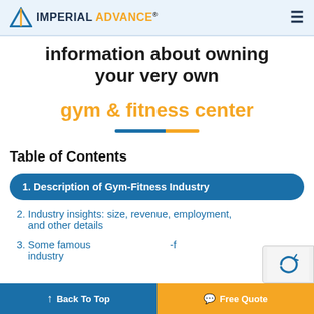IMPERIAL ADVANCE®
information about owning your very own gym & fitness center
1. Description of Gym-Fitness Industry
2. Industry insights: size, revenue, employment, and other details
3. Some famous ... industry